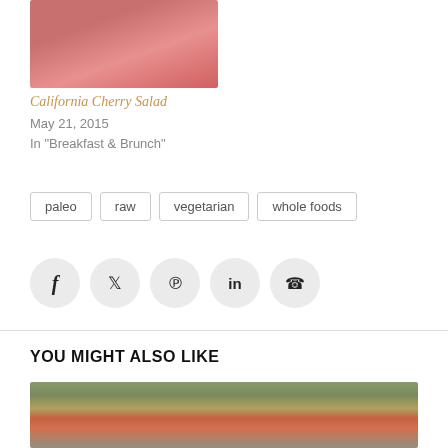[Figure (photo): Photo of a pink/red bowl containing a cherry salad, cropped at top of page]
California Cherry Salad
May 21, 2015
In "Breakfast & Brunch"
paleo
raw
vegetarian
whole foods
[Figure (infographic): Social sharing buttons: Facebook, Twitter, Pinterest, LinkedIn, WhatsApp]
YOU MIGHT ALSO LIKE
[Figure (photo): Photo of a wicker basket with condiment bottles (ketchup, mustard), bell peppers, tomatoes, and other vegetables]